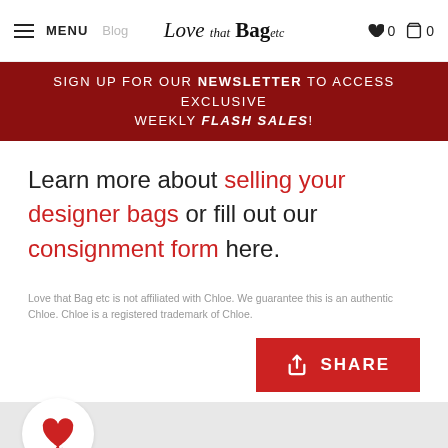MENU | Love that Bag etc | 0 | 0
SIGN UP FOR OUR NEWSLETTER TO ACCESS EXCLUSIVE WEEKLY FLASH SALES!
Learn more about selling your designer bags or fill out our consignment form here.
Love that Bag etc is not affiliated with Chloe. We guarantee this is an authentic Chloe. Chloe is a registered trademark of Chloe.
SHARE
[Figure (logo): Love that Bag etc logo mark — red heart/script icon in white circle on grey background]
100%